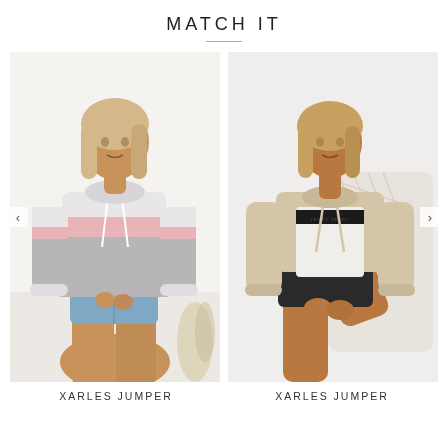MATCH IT
[Figure (photo): Two side-by-side fashion photos of women wearing Xarles hoodies. Left: model wearing a white/pink/grey color-block hoodie with denim shorts. Right: model wearing a beige/white/black color-block hoodie with black shorts, seated.]
XARLES JUMPER
XARLES JUMPER